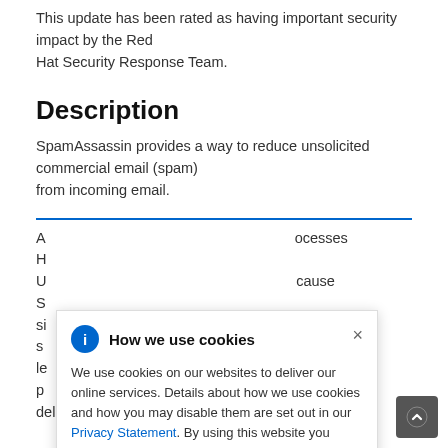This update has been rated as having important security impact by the Red Hat Security Response Team.
Description
SpamAssassin provides a way to reduce unsolicited commercial email (spam) from incoming email.
A ... processes H ... U ... because S ... si ... essages are s ... le ... g or p ... delivery of email.
How we use cookies — We use cookies on our websites to deliver our online services. Details about how we use cookies and how you may disable them are set out in our Privacy Statement. By using this website you agree to our use of cookies.